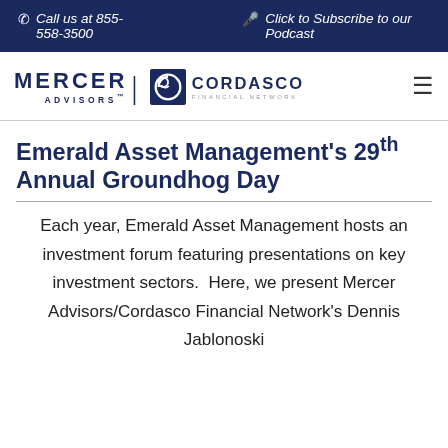📞 Call us at 855-558-3500   🎙 Click to Subscribe to our Podcast
[Figure (logo): Mercer Advisors and Cordasco Financial Network logos with hamburger menu icon]
Emerald Asset Management's 29th Annual Groundhog Day
Each year, Emerald Asset Management hosts an investment forum featuring presentations on key investment sectors. Here, we present Mercer Advisors/Cordasco Financial Network's Dennis Jablonoski